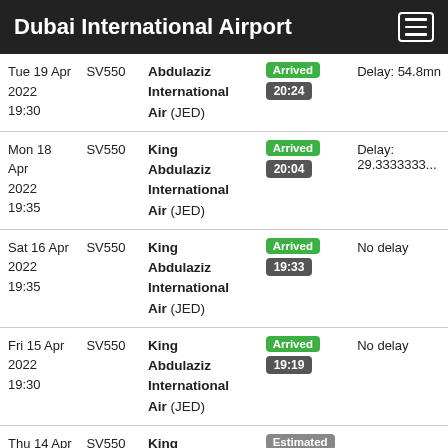Dubai International Airport
| Date | Flight | Destination | Status | Delay |
| --- | --- | --- | --- | --- |
| Tue 19 Apr 2022 19:30 | SV550 | Abdulaziz International Air (JED) | Arrived 20:24 | Delay: 54.8mn |
| Mon 18 Apr 2022 19:35 | SV550 | King Abdulaziz International Air (JED) | Arrived 20:04 | Delay: 29.3333333... |
| Sat 16 Apr 2022 19:35 | SV550 | King Abdulaziz International Air (JED) | Arrived 19:33 | No delay |
| Fri 15 Apr 2022 19:30 | SV550 | King Abdulaziz International Air (JED) | Arrived 19:19 | No delay |
| Thu 14 Apr 2022 19:40 | SV550 | King Abdulaziz International Air (JED) | Estimated 19:47 |  |
|  |  | King |  |  |